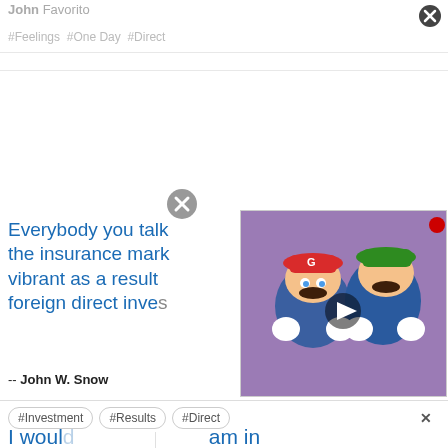John Favorito
#Feelings  #One Day  #Direct
[Figure (screenshot): Close button (X) in circle at top right corner of a modal or popup]
[Figure (screenshot): Close button (X) in gray circle, positioned above video thumbnail]
Everybody you talk [to say] the insurance mark[et is very] vibrant as a result [of all the] foreign direct inves[tment]
-- John W. Snow
[Figure (screenshot): Video thumbnail showing animated Mario and Luigi characters about to kiss, with a play button overlay. Purple background.]
#Investment  #Results  #Direct
I woul[d say I] am in no hur[ry]